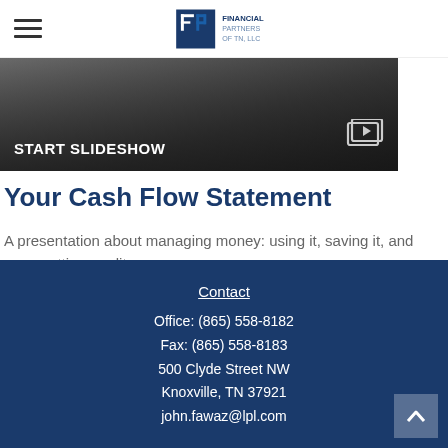Financial Partners of TN, LLC — header with hamburger menu and logo
[Figure (screenshot): Dark banner image with START SLIDESHOW text and a slideshow/video icon on the right]
Your Cash Flow Statement
A presentation about managing money: using it, saving it, and even getting credit.
Contact
Office: (865) 558-8182
Fax: (865) 558-8183
500 Clyde Street NW
Knoxville, TN 37921
john.fawaz@lpl.com